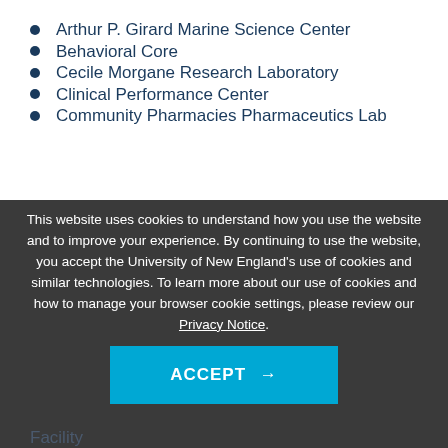Arthur P. Girard Marine Science Center
Behavioral Core
Cecile Morgane Research Laboratory
Clinical Performance Center
Community Pharmacies Pharmaceutics Lab
This website uses cookies to understand how you use the website and to improve your experience. By continuing to use the website, you accept the University of New England's use of cookies and similar technologies. To learn more about our use of cookies and how to manage your browser cookie settings, please review our Privacy Notice.
Facility
Hannaford Pharmacy Practice Lab
Harold Alfond Center for Health Sciences
Histology & Imaging Core (HI-C)
In Vitro D...